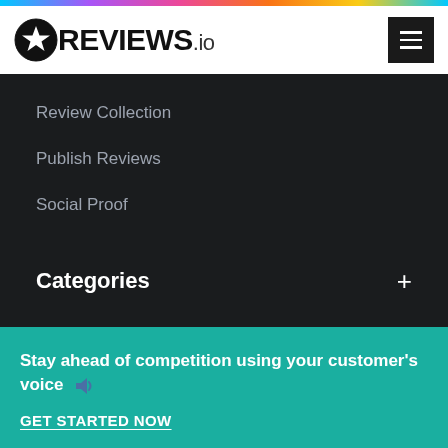[Figure (logo): REVIEWS.io logo with star icon on left]
Review Collection
Publish Reviews
Social Proof
Categories
Feature Release
Stay ahead of competition using your customer's voice 📣
GET STARTED NOW